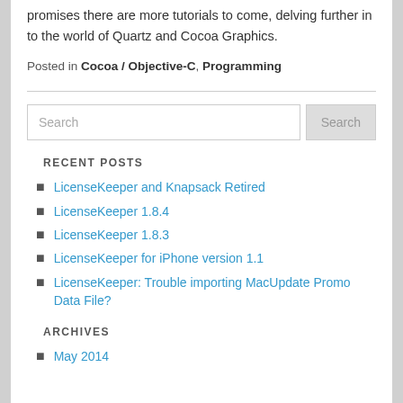promises there are more tutorials to come, delving further in to the world of Quartz and Cocoa Graphics.
Posted in Cocoa / Objective-C, Programming
Search
RECENT POSTS
LicenseKeeper and Knapsack Retired
LicenseKeeper 1.8.4
LicenseKeeper 1.8.3
LicenseKeeper for iPhone version 1.1
LicenseKeeper: Trouble importing MacUpdate Promo Data File?
ARCHIVES
May 2014